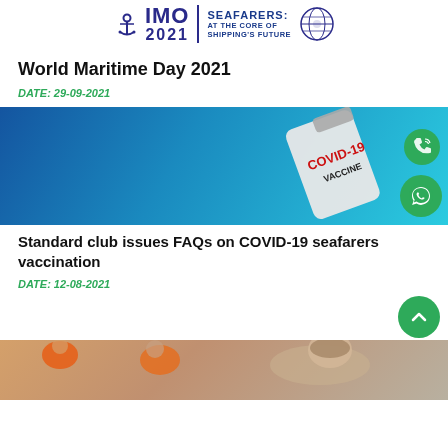[Figure (logo): IMO 2021 Seafarers at the Core of Shipping's Future logo with anchor icon and globe emblem]
World Maritime Day 2021
DATE: 29-09-2021
[Figure (photo): COVID-19 vaccine vial on blue background with floating phone and WhatsApp buttons]
Standard club issues FAQs on COVID-19 seafarers vaccination
DATE: 12-08-2021
[Figure (photo): People in orange hi-vis vests in a meeting or training setting, partially visible at bottom of page]